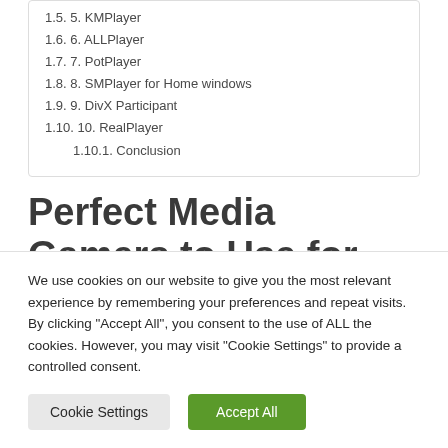1.5. 5. KMPlayer
1.6. 6. ALLPlayer
1.7. 7. PotPlayer
1.8. 8. SMPlayer for Home windows
1.9. 9. DivX Participant
1.10. 10. RealPlayer
1.10.1. Conclusion
Perfect Media Gamers to Use for Home windows 11
We use cookies on our website to give you the most relevant experience by remembering your preferences and repeat visits. By clicking “Accept All”, you consent to the use of ALL the cookies. However, you may visit “Cookie Settings” to provide a controlled consent.